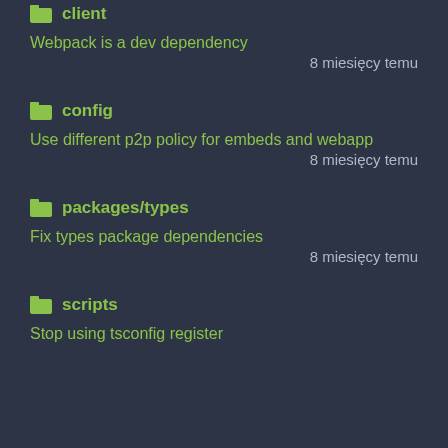client
Webpack is a dev dependency
8 miesięcy temu
config
Use different p2p policy for embeds and webapp
8 miesięcy temu
packages/types
Fix types package dependencies
8 miesięcy temu
scripts
Stop using tsconfig register